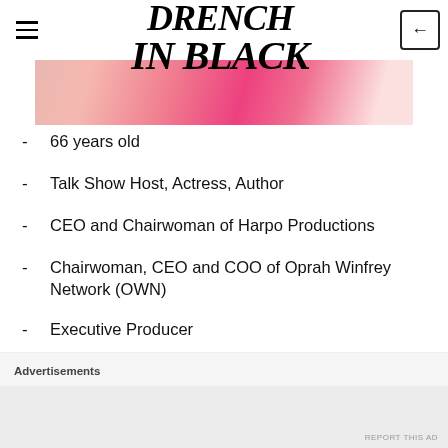DRENCH IN BLACK
[Figure (photo): Cropped photo showing a hand holding a pink object with a gold ring visible, on a light pink background]
66 years old
Talk Show Host, Actress, Author
CEO and Chairwoman of Harpo Productions
Chairwoman, CEO and COO of Oprah Winfrey Network (OWN)
Executive Producer
Advertisements